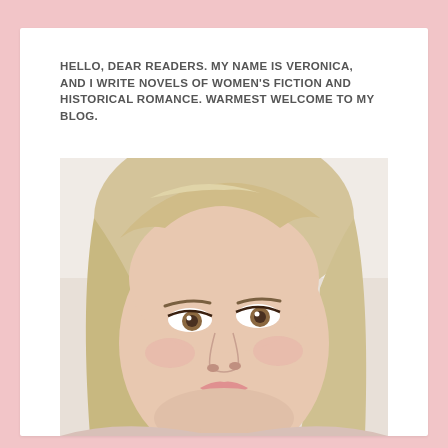HELLO, DEAR READERS. MY NAME IS VERONICA, AND I WRITE NOVELS OF WOMEN'S FICTION AND HISTORICAL ROMANCE. WARMEST WELCOME TO MY BLOG.
[Figure (photo): Close-up portrait photo of a blonde woman with light eyes, looking slightly to the side, with a neutral/light background]